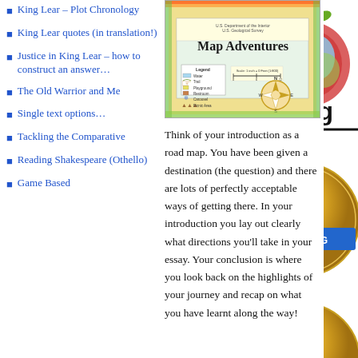King Lear – Plot Chronology
King Lear quotes (in translation!)
Justice in King Lear – how to construct an answer…
The Old Warrior and Me
Single text options…
Tackling the Comparative
Reading Shakespeare (Othello)
Game Based
[Figure (illustration): Book cover image of 'Map Adventures' published by U.S. Department of the Interior, U.S. Geological Survey, showing a colorful map with legend, compass rose, and scale bar.]
Think of your introduction as a road map. You have been given a destination (the question) and there are lots of perfectly acceptable ways of getting there. In your introduction you lay out clearly what directions you'll take in your essay. Your conclusion is where you look back on the highlights of your journey and recap on what you have learnt along the way!
[Figure (logo): EdBlog logo with a colorful apple icon]
NOMINATION
[Figure (infographic): Gold award badge for EdBlog award: Finalist – Most Influential Post of the [year], with blue ribbon EDUBLOG 20[xx]]
[Figure (infographic): Second gold award badge for EdBlog – partially visible, showing Finalist and beginning of category text]